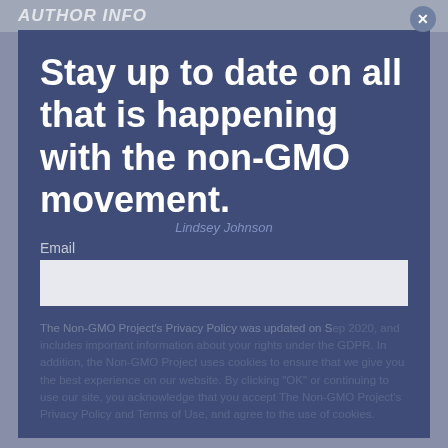AUTHOR INFO
Stay up to date on all that is happening with the non-GMO movement.
Lindsey Johnson
Email
The Non-GMO Project's Privacy Policy was updated on S[...]020, and includes important information about your rights under the GDPR. In addition, the Non-GMO Project uses cookies to ensure that we give you the best experience on our website. By clicking "OK" or continuing to use our site, you acknowledge that you accept The Non-GMO Project's Privacy Policy and Terms of Use, and agree to the use of cookies.
I have read and agree to the Non-GMO Project's Privacy Policy. I also agree to receive regular emails from the Non-GMO Project, keeping me up to date about Non-GMO Project News, giveaways, and more.